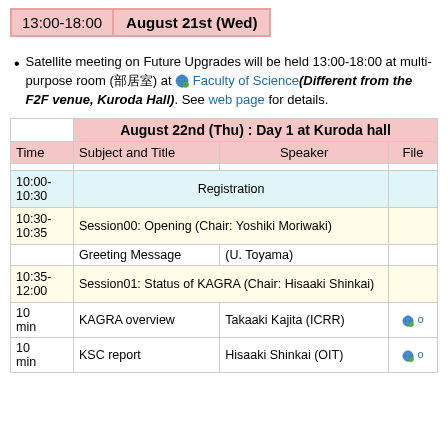| 13:00-18:00 | August 21st (Wed) |
| --- | --- |
Satellite meeting on Future Upgrades will be held 13:00-18:00 at multi-purpose room (理学部本館) at Faculty of Science(Different from the F2F venue, Kuroda Hall). See web page for details.
|  | August 22nd (Thu) : Day 1 at Kuroda hall |  |  |
| --- | --- | --- | --- |
| Time | Subject and Title | Speaker | File |
| 10:00-10:30 | Registration |  |  |
| 10:30-10:35 | Session00: Opening (Chair: Yoshiki Moriwaki) |  |  |
|  | Greeting Message | (U. Toyama) |  |
| 10:35-12:00 | Session01: Status of KAGRA (Chair: Hisaaki Shinkai) |  |  |
| 10 min | KAGRA overview | Takaaki Kajita (ICRR) | 🌐 o |
| 10 min | KSC report | Hisaaki Shinkai (OIT) | 🌐 o |